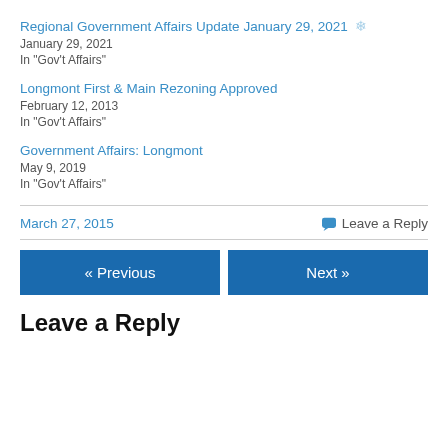Regional Government Affairs Update January 29, 2021 ❄
January 29, 2021
In "Gov't Affairs"
Longmont First & Main Rezoning Approved
February 12, 2013
In "Gov't Affairs"
Government Affairs: Longmont
May 9, 2019
In "Gov't Affairs"
March 27, 2015    💬 Leave a Reply
« Previous    Next »
Leave a Reply